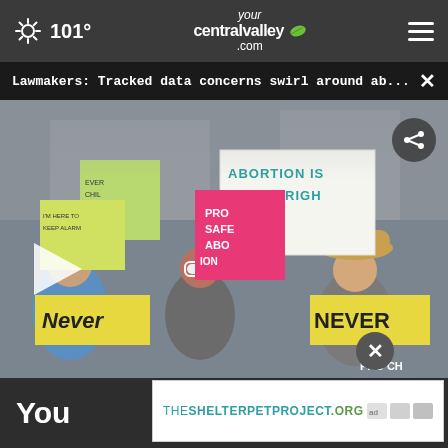101° yourcentralvalley.com
Lawmakers: Tracked data concerns swirl around ab...
[Figure (photo): Crowd of protesters holding signs reading 'ABORTION IS A CIVIL RIGHT', 'PRO SAFE ABORTION', 'Never', 'NEVER' at an outdoor rally. A woman in white sunglasses is prominent in the foreground.]
You
THESHELTERPETPROJECT.ORG